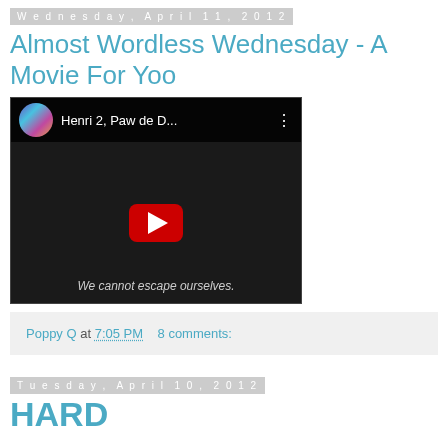Wednesday, April 11, 2012
Almost Wordless Wednesday - A Movie For Yoo
[Figure (screenshot): YouTube video thumbnail showing 'Henri 2, Paw de D...' with a cat in black and white, play button visible, text reads 'We cannot escape ourselves.']
Poppy Q at 7:05 PM   8 comments:
Tuesday, April 10, 2012
HARD